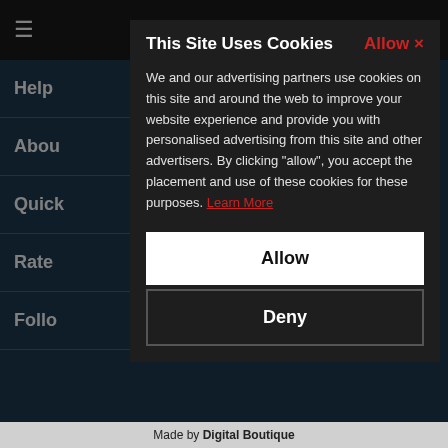This Site Uses Cookies
We and our advertising partners use cookies on this site and around the web to improve your website experience and provide you with personalised advertising from this site and other advertisers. By clicking "allow", you accept the placement and use of these cookies for these purposes. Learn More
Allow
Deny
Made by Digital Boutique